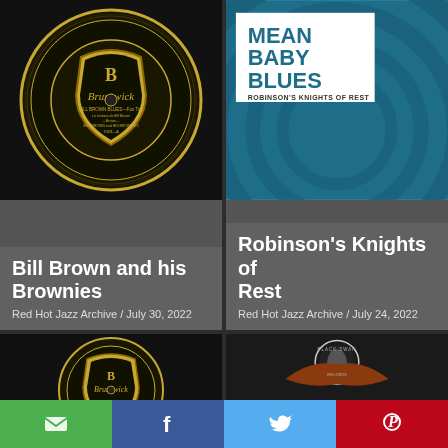[Figure (photo): Brunswick record label showing 'Bill Brown Blues - Fox Trot' by Bill Brown and His Brownies, record number 7003-A, on dark background]
[Figure (photo): Mean Baby Blues album cover with teal concentric circles and white inset showing 'MEAN BABY BLUES' and 'ROBINSON'S KNIGHTS OF REST' text]
Bill Brown and his Brownies
Red Hot Jazz Archive / July 30, 2022
Robinson's Knights of Rest
Red Hot Jazz Archive / July 24, 2022
[Figure (photo): Brunswick record label close-up on dark background, bottom card left]
[Figure (photo): Black Swan Records label with eagle logo and 'BLACK SWAN' text on dark background, bottom card right]